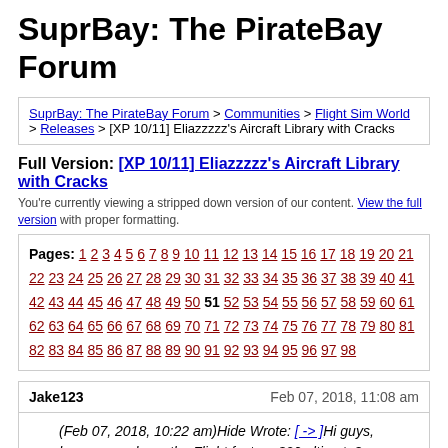SuprBay: The PirateBay Forum
SuprBay: The PirateBay Forum > Communities > Flight Sim World > Releases > [XP 10/11] Eliazzzzz's Aircraft Library with Cracks
Full Version: [XP 10/11] Eliazzzzz's Aircraft Library with Cracks
You're currently viewing a stripped down version of our content. View the full version with proper formatting.
Pages: 1 2 3 4 5 6 7 8 9 10 11 12 13 14 15 16 17 18 19 20 21 22 23 24 25 26 27 28 29 30 31 32 33 34 35 36 37 38 39 40 41 42 43 44 45 46 47 48 49 50 51 52 53 54 55 56 57 58 59 60 61 62 63 64 65 66 67 68 69 70 71 72 73 74 75 76 77 78 79 80 81 82 83 84 85 86 87 88 89 90 91 92 93 94 95 96 97 98
Jake123 — Feb 07, 2018, 11:08 am
(Feb 07, 2018, 10:22 am)Hide Wrote: [ -> ]Hi guys, has anyone have the Flight factor a320 ultimate?
Wait until it is released. Someone will shurely crack it then